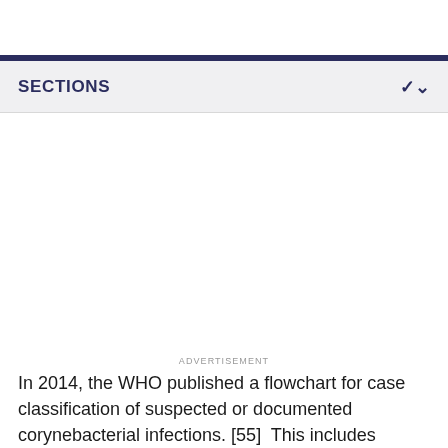SECTIONS
ADVERTISEMENT
In 2014, the WHO published a flowchart for case classification of suspected or documented corynebacterial infections. [55]  This includes infections of C. diphtheriae as well as diphtheria-like organisms including